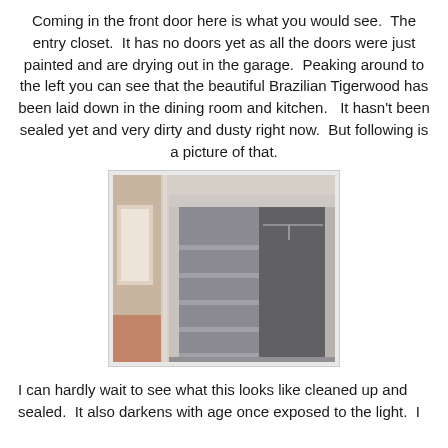Coming in the front door here is what you would see.  The entry closet.  It has no doors yet as all the doors were just painted and are drying out in the garage.  Peaking around to the left you can see that the beautiful Brazilian Tigerwood has been laid down in the dining room and kitchen.   It hasn't been sealed yet and very dirty and dusty right now.  But following is a picture of that.
[Figure (photo): Interior photo showing an entry closet with no doors, open shelving unit on the left side with multiple shelves, a clothes hanging rod on the right, and a glimpse of the room to the left with what appears to be hardwood flooring.]
I can hardly wait to see what this looks like cleaned up and sealed.  It also darkens with age once exposed to the light.  I